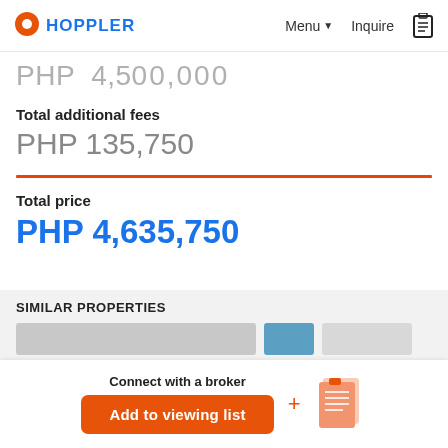HOPPLER | Menu | Inquire
PHP 4,500,000
Total additional fees
PHP 135,750
Total price
PHP 4,635,750
SIMILAR PROPERTIES
Connect with a broker
Add to viewing list